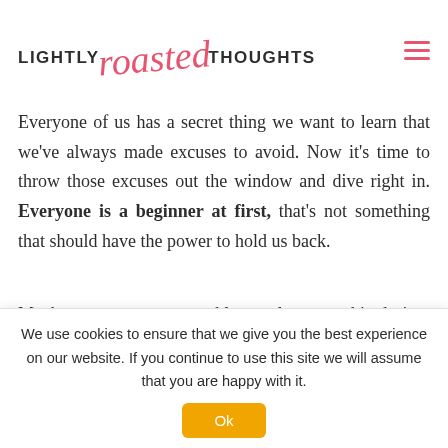LIGHTLY roasted THOUGHTS
Everyone of us has a secret thing we want to learn that we've always made excuses to avoid. Now it's time to throw those excuses out the window and dive right in. Everyone is a beginner at first, that's not something that should have the power to hold us back.
Maybe you want to start a blog, or learn graphic design, or cook the worlds best vegan bolognese? Everything is possible, you just have to begin. And the perfect time to
We use cookies to ensure that we give you the best experience on our website. If you continue to use this site we will assume that you are happy with it. Ok